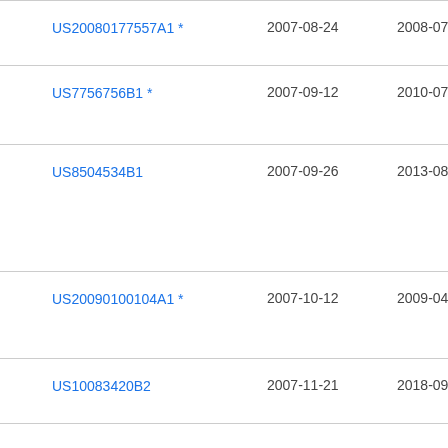| Patent | Filed | Published/Granted | Assignee |
| --- | --- | --- | --- |
| US20080177557A1 * | 2007-08-24 | 2008-07-24 | Iair... |
| US7756756B1 * | 2007-09-12 | 2010-07-13 | Am... Tec... |
| US8504534B1 | 2007-09-26 | 2013-08-06 | Ava... |
| US20090100104A1 * | 2007-10-12 | 2009-04-16 | Ka... |
| US10083420B2 | 2007-11-21 | 2018-09-25 | Ser... |